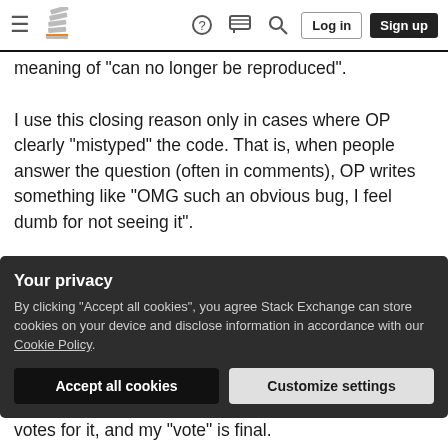Stack Exchange navigation bar with hamburger menu, logo, help, chat, search icons, Log in and Sign up buttons
meaning of "can no longer be reproduced".
I use this closing reason only in cases where OP clearly "mistyped" the code. That is, when people answer the question (often in comments), OP writes something like "OMG such an obvious bug, I feel dumb for not seeing it".
An easy way to deal with these questions would be by giving OP the chance to "agree" with the closing reason. Something that helps OP say "Yes, this question is about a typo in my code - this question
Your privacy
By clicking "Accept all cookies", you agree Stack Exchange can store cookies on your device and disclose information in accordance with our Cookie Policy.
Accept all cookies   Customize settings
votes for it, and my "vote" is final.